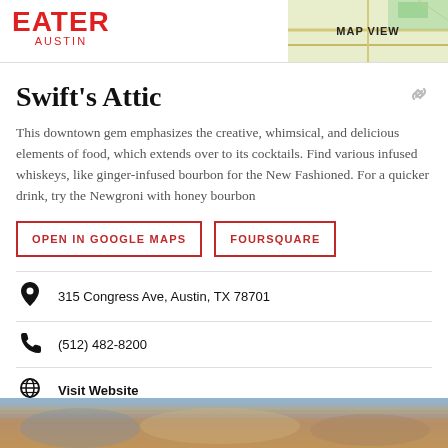EATER AUSTIN
Swift's Attic
This downtown gem emphasizes the creative, whimsical, and delicious elements of food, which extends over to its cocktails. Find various infused whiskeys, like ginger-infused bourbon for the New Fashioned. For a quicker drink, try the Newgroni with honey bourbon
OPEN IN GOOGLE MAPS
FOURSQUARE
315 Congress Ave, Austin, TX 78701
(512) 482-8200
Visit Website
[Figure (photo): Blurred photo strip at bottom of page showing restaurant interior]